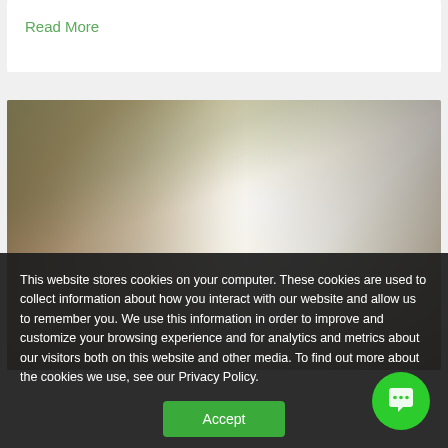Read More
[Figure (photo): Person using smartphone while laptop and credit card are visible on a desk, bright light in center of image]
This website stores cookies on your computer. These cookies are used to collect information about how you interact with our website and allow us to remember you. We use this information in order to improve and customize your browsing experience and for analytics and metrics about our visitors both on this website and other media. To find out more about the cookies we use, see our Privacy Policy.
Accept